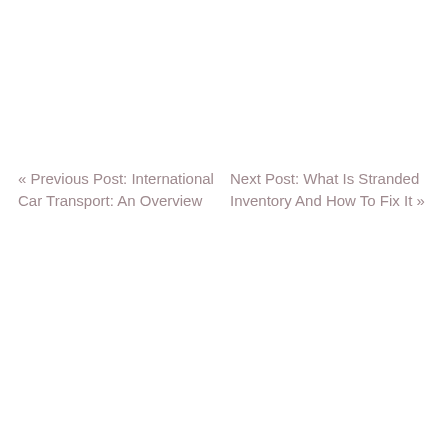« Previous Post: International Car Transport: An Overview
Next Post: What Is Stranded Inventory And How To Fix It »